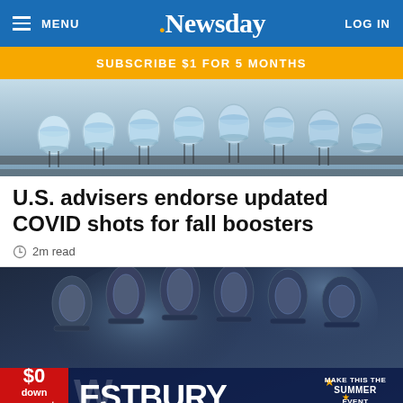MENU | Newsday | LOG IN
SUBSCRIBE $1 FOR 5 MONTHS
[Figure (photo): Rows of clear glass vaccine vials filled with liquid on a production line]
U.S. advisers endorse updated COVID shots for fall boosters
2m read
[Figure (photo): Close-up of dark industrial machinery with Westbury dealership advertisement overlay showing $0 down payment and New 2022 Jeep RAM offer]